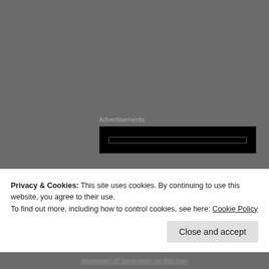Advertisements
[Figure (other): Advertisement banner placeholder — black rectangle with gray border]
[Figure (photo): Circular avatar photo of a man with glasses and dark turtleneck]
Christer Bakke Andresen
30. SEPTEMBER 2013 AT 15:02
Neither Bruce nor Nicko could do three hours on stage, unfortunately. 😉
Privacy & Cookies: This site uses cookies. By continuing to use this website, you agree to their use.
To find out more, including how to control cookies, see here: Cookie Policy
Close and accept
seventeen of Seventeen on this loan